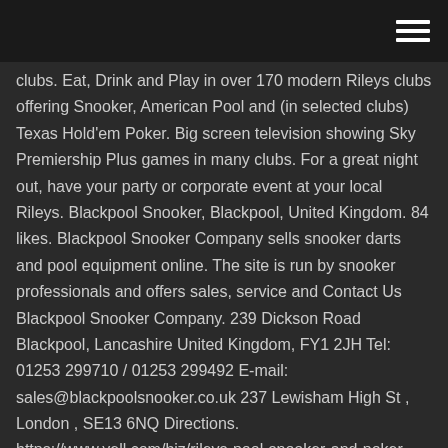clubs. Eat, Drink and Play in over 170 modern Rileys clubs offering Snooker, American Pool and (in selected clubs) Texas Hold'em Poker. Big screen television showing Sky Premiership Plus games in many clubs. For a great night out, have your party or corporate event at your local Rileys. Blackpool Snooker, Blackpool, United Kingdom. 84 likes. Blackpool Snooker Company sells snooker darts and pool equipment online. The site is run by snooker professionals and offers sales, service and Contact Us Blackpool Snooker Company. 239 Dickson Road Blackpool, Lancashire United Kingdom, FY1 2JH Tel: 01253 299710 / 01253 299492 E-mail: sales@blackpoolsnooker.co.uk 237 Lewisham High St , London , SE13 6NQ Directions.
https://www.yell.com/biz/rileys-pool-snooker-and-poker-